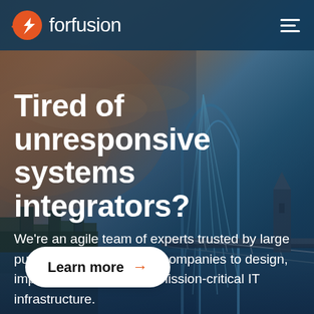[Figure (photo): City skyline and bridge background with warm orange sky on left and blue teal tones on right, featuring a metal arch bridge and urban waterfront.]
forfusion
Tired of unresponsive systems integrators?
We're an agile team of experts trusted by large public and private sector companies to design, implement and manage mission-critical IT infrastructure.
Learn more →